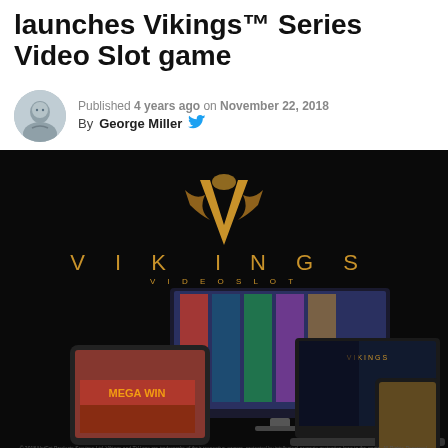launches Vikings™ Series Video Slot game
Published 4 years ago on November 22, 2018
By George Miller
[Figure (photo): Vikings Video Slot game promotional image showing the game logo, desktop monitor, tablet, laptop, and mobile phone displaying the game]